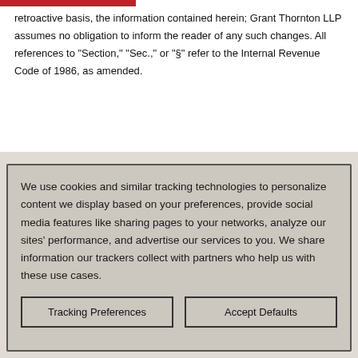retroactive basis, the information contained herein; Grant Thornton LLP assumes no obligation to inform the reader of any such changes. All references to "Section," "Sec.," or "§" refer to the Internal Revenue Code of 1986, as amended.
We use cookies and similar tracking technologies to personalize content we display based on your preferences, provide social media features like sharing pages to your networks, analyze our sites' performance, and advertise our services to you. We share information our trackers collect with partners who help us with these use cases.
Tracking Preferences
Accept Defaults